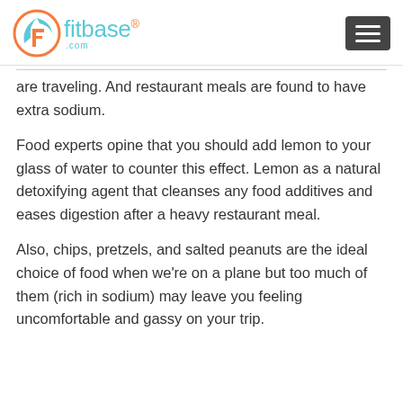fitbase® .com
are traveling. And restaurant meals are found to have extra sodium.
Food experts opine that you should add lemon to your glass of water to counter this effect. Lemon as a natural detoxifying agent that cleanses any food additives and eases digestion after a heavy restaurant meal.
Also, chips, pretzels, and salted peanuts are the ideal choice of food when we're on a plane but too much of them (rich in sodium) may leave you feeling uncomfortable and gassy on your trip.